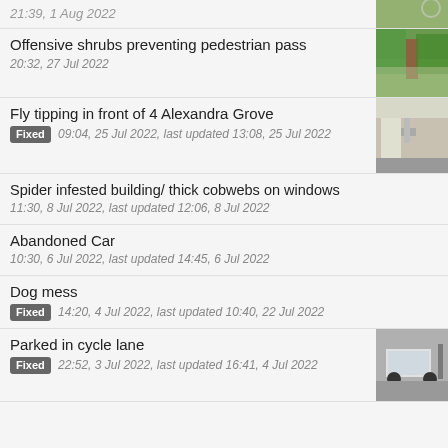21:39, 1 Aug 2022
Offensive shrubs preventing pedestrian pass
20:32, 27 Jul 2022
Fly tipping in front of 4 Alexandra Grove
Fixed 09:04, 25 Jul 2022, last updated 13:08, 25 Jul 2022
Spider infested building/ thick cobwebs on windows
11:30, 8 Jul 2022, last updated 12:06, 8 Jul 2022
Abandoned Car
10:30, 6 Jul 2022, last updated 14:45, 6 Jul 2022
Dog mess
Fixed 14:20, 4 Jul 2022, last updated 10:40, 22 Jul 2022
Parked in cycle lane
Fixed 22:52, 3 Jul 2022, last updated 16:41, 4 Jul 2022